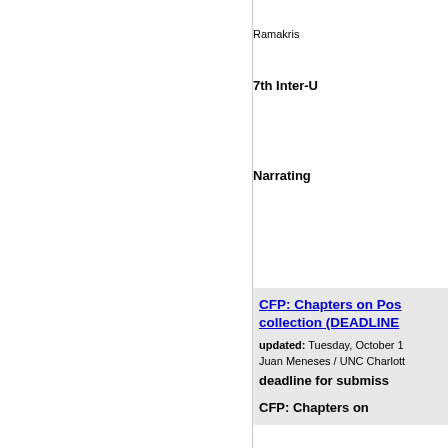Ramakris
7th Inter-U
Narrating
CFP: Chapters on Pos collection (DEADLINE
updated: Tuesday, October 1 Juan Meneses / UNC Charlotte
deadline for submiss
CFP: Chapters on